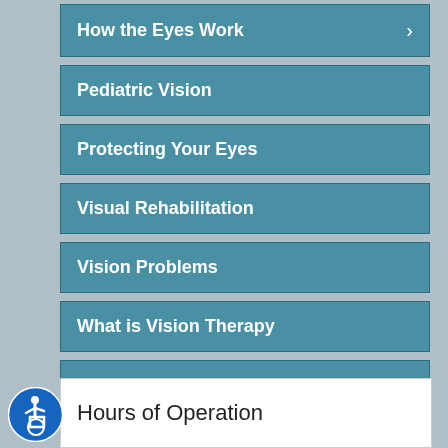How the Eyes Work
Pediatric Vision
Protecting Your Eyes
Visual Rehabilitation
Vision Problems
What is Vision Therapy
Vision Therapy Programs
We Can Help With
Newsletters
Hours of Operation